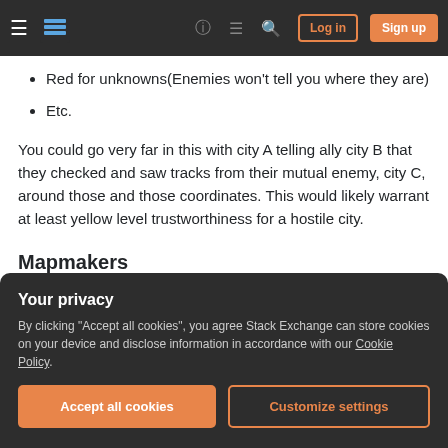Stack Exchange navigation bar with Log in and Sign up buttons
Red for unknowns(Enemies won't tell you where they are)
Etc.
You could go very far in this with city A telling ally city B that they checked and saw tracks from their mutual enemy, city C, around those and those coordinates. This would likely warrant at least yellow level trustworthiness for a hostile city.
Mapmakers
updated map with sculptures, drawn-on older
Your privacy
By clicking "Accept all cookies", you agree Stack Exchange can store cookies on your device and disclose information in accordance with our Cookie Policy.